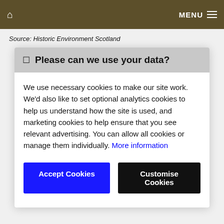MENU
Source: Historic Environment Scotland
Please can we use your data?
We use necessary cookies to make our site work. We'd also like to set optional analytics cookies to help us understand how the site is used, and marketing cookies to help ensure that you see relevant advertising. You can allow all cookies or manage them individually. More information
Accept Cookies
Customise Cookies